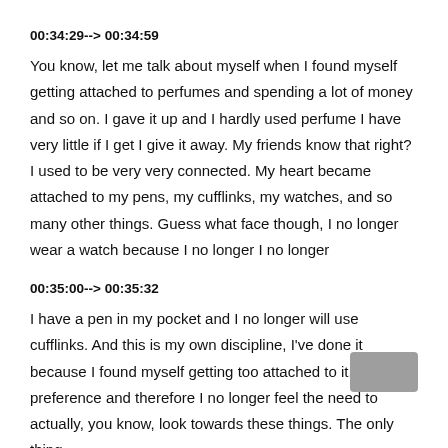00:34:29--> 00:34:59
You know, let me talk about myself when I found myself getting attached to perfumes and spending a lot of money and so on. I gave it up and I hardly used perfume I have very little if I get I give it away. My friends know that right? I used to be very very connected. My heart became attached to my pens, my cufflinks, my watches, and so many other things. Guess what face though, I no longer wear a watch because I no longer I no longer
00:35:00--> 00:35:32
I have a pen in my pocket and I no longer will use cufflinks. And this is my own discipline, I've done it because I found myself getting too attached to it, giving it preference and therefore I no longer feel the need to actually, you know, look towards these things. The only thing